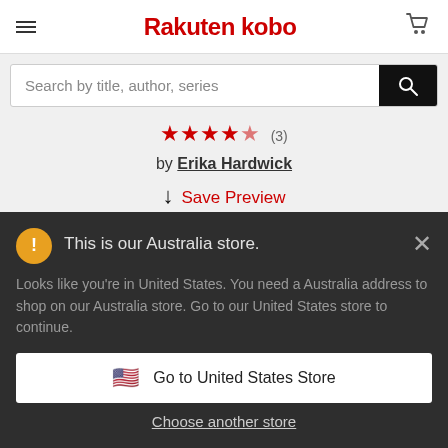Rakuten kobo
Search by title, author, series
★★★★☆ (3)
by Erika Hardwick
↓ Save Preview
This is our Australia store.
Looks like you're in United States. You need a Australia address to shop on our Australia store. Go to our United States store to continue.
Go to United States Store
Choose another store